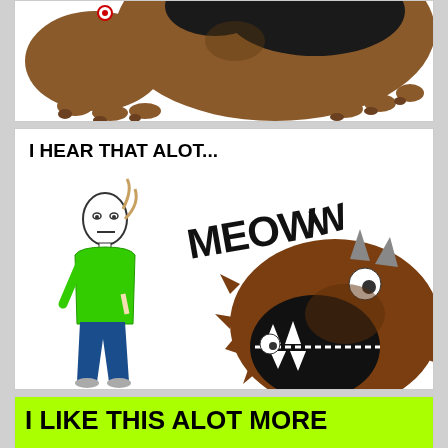[Figure (illustration): Bottom portion of a large brown cartoon creature (alot) showing claws and fur, with a small red circle eye visible at top left.]
[Figure (illustration): Comic panel showing a stick figure person in green shirt and blue jeans looking at a large brown furry monster (alot) with open mouth showing teeth, saying MEOWW. Text at top reads 'I HEAR THAT ALOT...']
[Figure (illustration): Green banner with bold black text reading 'I LIKE THIS ALOT MORE']